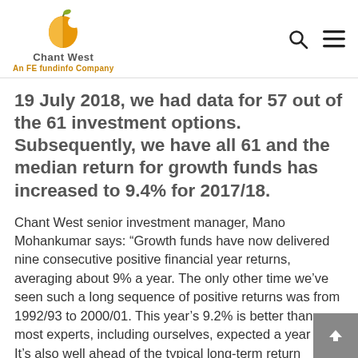Chant West — An FE fundinfo Company
19 July 2018, we had data for 57 out of the 61 investment options. Subsequently, we have all 61 and the median return for growth funds has increased to 9.4% for 2017/18.
Chant West senior investment manager, Mano Mohankumar says: “Growth funds have now delivered nine consecutive positive financial year returns, averaging about 9% a year. The only other time we’ve seen such a long sequence of positive returns was from 1992/93 to 2000/01. This year’s 9.2% is better than most experts, including ourselves, expected a year ago. It’s also well ahead of the typical long-term return objective for the growth category which is CPI + 3.5%. With inflation running at about 2%, that translates to a target of about 5.5%.